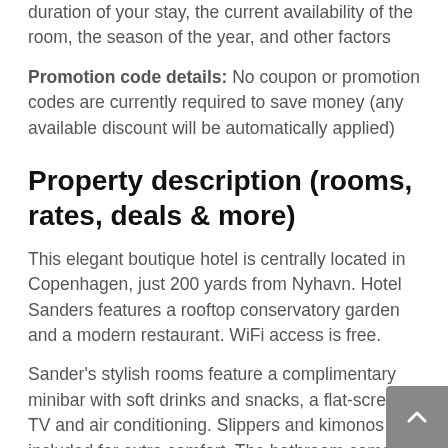duration of your stay, the current availability of the room, the season of the year, and other factors
Promotion code details: No coupon or promotion codes are currently required to save money (any available discount will be automatically applied)
Property description (rooms, rates, deals & more)
This elegant boutique hotel is centrally located in Copenhagen, just 200 yards from Nyhavn. Hotel Sanders features a rooftop conservatory garden and a modern restaurant. WiFi access is free.
Sander's stylish rooms feature a complimentary minibar with soft drinks and snacks, a flat-screen TV and air conditioning. Slippers and kimonos are included for extra comfort. The bathroom comes with a shower, hairdryer and luxury toiletries.
The restaurant Sanders Kitchen offers a menu inspired